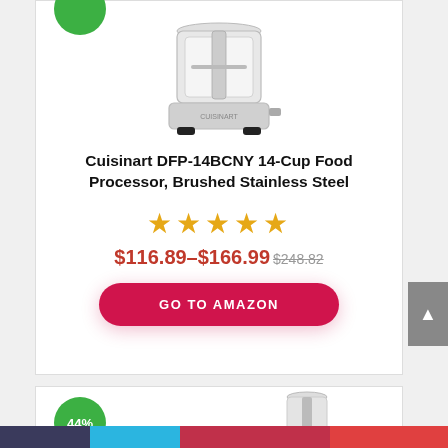[Figure (photo): Cuisinart DFP-14BCNY 14-Cup Food Processor, Brushed Stainless Steel product image]
Cuisinart DFP-14BCNY 14-Cup Food Processor, Brushed Stainless Steel
★★★★★
$116.89–$166.99 $248.82
GO TO AMAZON
44%